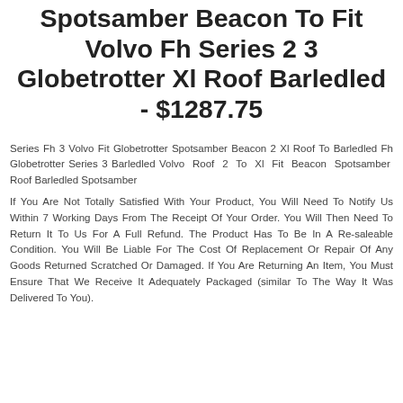Spotsamber Beacon To Fit Volvo Fh Series 2 3 Globetrotter Xl Roof Barledled - $1287.75
Series Fh 3 Volvo Fit Globetrotter Spotsamber Beacon 2 Xl Roof To Barledled Fh Globetrotter Series 3 Barledled Volvo Roof 2 To Xl Fit Beacon Spotsamber Roof Barledled Spotsamber
If You Are Not Totally Satisfied With Your Product, You Will Need To Notify Us Within 7 Working Days From The Receipt Of Your Order. You Will Then Need To Return It To Us For A Full Refund. The Product Has To Be In A Re-saleable Condition. You Will Be Liable For The Cost Of Replacement Or Repair Of Any Goods Returned Scratched Or Damaged. If You Are Returning An Item, You Must Ensure That We Receive It Adequately Packaged (similar To The Way It Was Delivered To You).